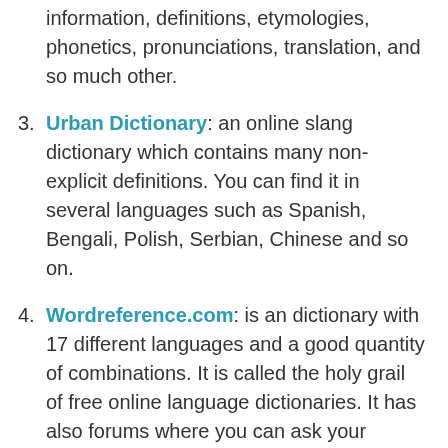information, definitions, etymologies, phonetics, pronunciations, translation, and so much other.
Urban Dictionary: an online slang dictionary which contains many non-explicit definitions. You can find it in several languages such as Spanish, Bengali, Polish, Serbian, Chinese and so on.
Wordreference.com: is an dictionary with 17 different languages and a good quantity of combinations. It is called the holy grail of free online language dictionaries. It has also forums where you can ask your doubts and questions.
Your dictionary: a dictionary and thesaurus with so many language examples, references, articles, resources, linguistics tools such as a world finder for Scrabble, grammar among other